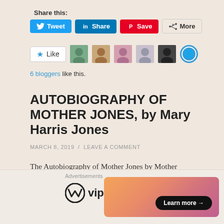Share this:
[Figure (other): Social share buttons: Tweet (Twitter), Share (LinkedIn), Save (Pinterest), More]
[Figure (other): WordPress Like button with star icon and 6 blogger avatar thumbnails]
6 bloggers like this.
AUTOBIOGRAPHY OF MOTHER JONES, by Mary Harris Jones
MARCH 8, 2019  /  LEAVE A COMMENT
The Autobiography of Mother Jones by Mother
[Figure (other): WordPress VIP advertisement banner with Learn more button]